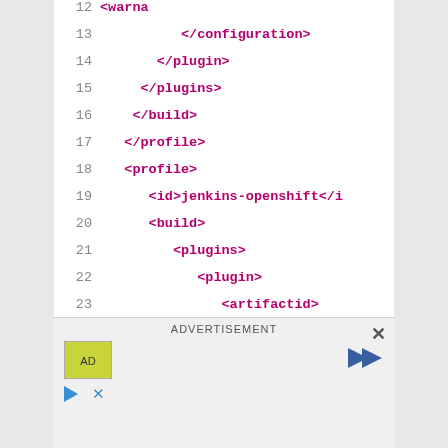[Figure (screenshot): Code editor screenshot showing XML lines 12-34 with line numbers on left and XML tags in bold magenta/purple color on white background]
ADVERTISEMENT